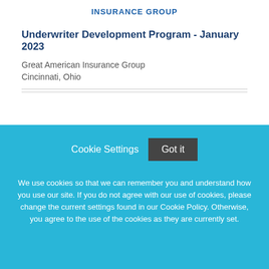INSURANCE GROUP
Underwriter Development Program - January 2023
Great American Insurance Group
Cincinnati, Ohio
[Figure (illustration): Red swoosh/signature graphic, partial view of Great American Insurance Group logo swoosh]
Cookie Settings   Got it

We use cookies so that we can remember you and understand how you use our site. If you do not agree with our use of cookies, please change the current settings found in our Cookie Policy. Otherwise, you agree to the use of the cookies as they are currently set.